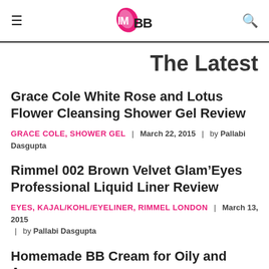IMBB logo with hamburger menu and search icon
The Latest
Grace Cole White Rose and Lotus Flower Cleansing Shower Gel Review
GRACE COLE, SHOWER GEL  |  March 22, 2015  |  by Pallabi Dasgupta
Rimmel 002 Brown Velvet Glam'Eyes Professional Liquid Liner Review
EYES, KAJAL/KOHL/EYELINER, RIMMEL LONDON  |  March 13, 2015  |  by Pallabi Dasgupta
Homemade BB Cream for Oily and Acne